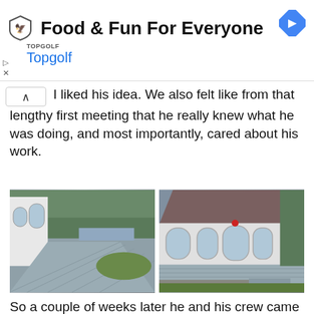[Figure (other): Topgolf advertisement banner with shield logo, 'Food & Fun For Everyone' headline, Topgolf brand name in blue, and navigation arrow icon]
I liked his idea. We also felt like from that lengthy first meeting that he really knew what he was doing, and most importantly, cared about his work.
[Figure (photo): Two side-by-side photos of a house exterior with a gray composite deck. Left photo shows a wide-angle view of the deck surface stretching toward trees and water. Right photo shows the rear of a white house with large windows and the completed deck with steps.]
So a couple of weeks later he and his crew came out to our house, a total of four guys, and they began the task of replacing a deck surface for us. After about half a day they had removed